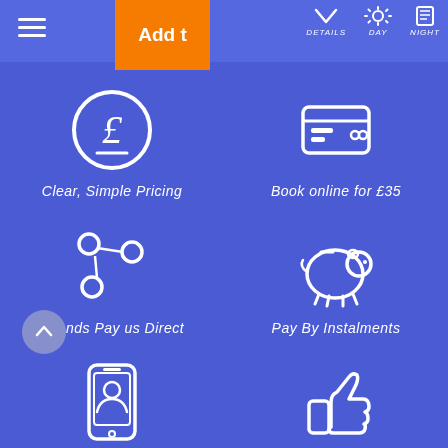[Figure (screenshot): Mobile app UI showing blue background with hamburger menu, orange Add button, and navigation icons for DETAILS, DAY, NIGHT]
[Figure (illustration): Pound sterling coin circle icon]
Clear, Simple Pricing
[Figure (illustration): Credit card / book online icon]
Book online for £35
[Figure (illustration): Share / network nodes icon]
Friends Pay us Direct
[Figure (illustration): Piggy bank icon]
Pay By Instalments
[Figure (illustration): Mobile phone with person icon - event app]
Download Event App
[Figure (illustration): Thumbs up icon]
98% Recommend Us